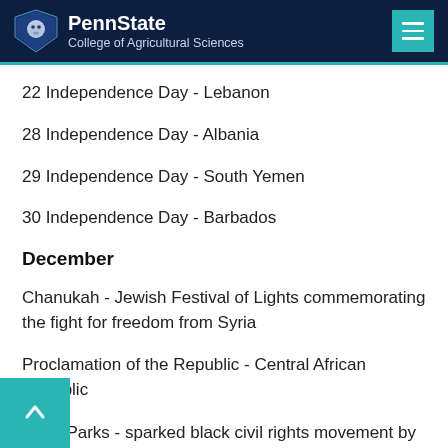PennState College of Agricultural Sciences
22 Independence Day - Lebanon
28 Independence Day - Albania
29 Independence Day - South Yemen
30 Independence Day - Barbados
December
Chanukah - Jewish Festival of Lights commemorating the fight for freedom from Syria
Proclamation of the Republic - Central African Republic
Rosa Parks - sparked black civil rights movement by